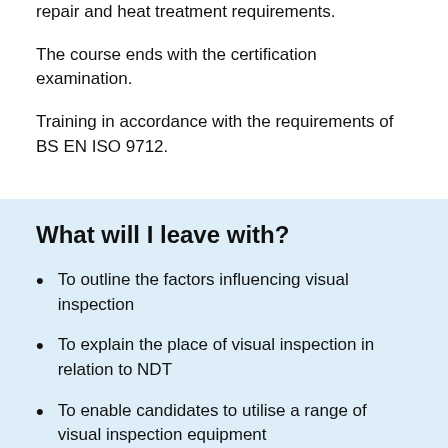repair and heat treatment requirements.
The course ends with the certification examination.
Training in accordance with the requirements of BS EN ISO 9712.
What will I leave with?
To outline the factors influencing visual inspection
To explain the place of visual inspection in relation to NDT
To enable candidates to utilise a range of visual inspection equipment
To meet syllabus requirements for CSWIP Level 2
Certification